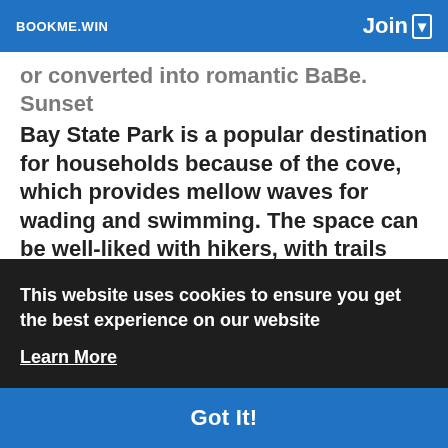BOOKME.WIN   Join ▾
or converted into romantic BaBe. Sunset Bay State Park is a popular destination for households because of the cove, which provides mellow waves for wading and swimming. The space can be well-liked with hikers, with trails connecting the tenting area and park to other close by
of
e.
This website uses cookies to ensure you get the best experience on our website
Learn More
Got It!
I'll share with you the locations we visited